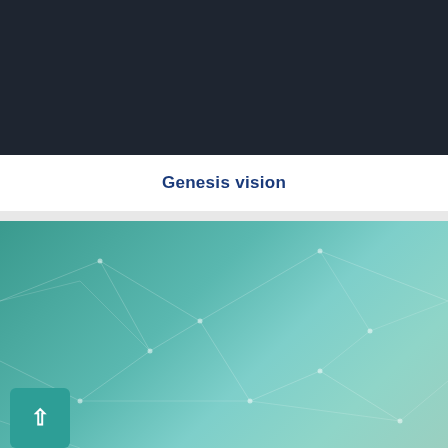[Figure (screenshot): Dark navigation header bar of a website]
Genesis vision
[Figure (screenshot): Teal geometric network background with cookie consent banner overlay. Cookie banner text: 'This website uses cookies to ensure you get the best experience on our website.' with a red 'Got it' button. Partial text 'OLL' visible on right side. Back-to-top arrow button in bottom left.]